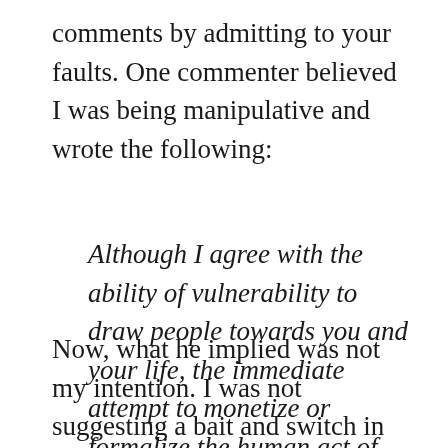comments by admitting to your faults. One commenter believed I was being manipulative and wrote the following:
Although I agree with the ability of vulnerability to draw people towards you and your life, the immediate attempt to monetize or formalize the human act of weakness is offensive.
Now, what he implied was not my intention. I was not suggesting a bait and switch in order to sell something, and the implication that I was might have really rubbed me the